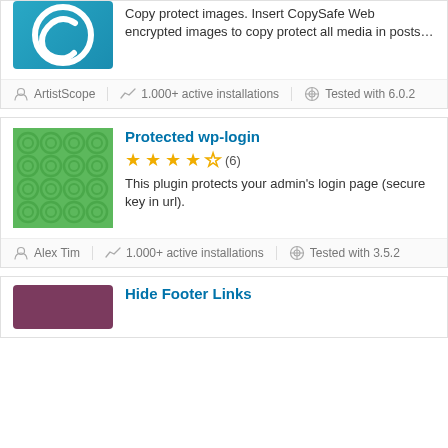[Figure (logo): Blue background with white copyright/C symbol icon - CopySafe plugin logo (partial, cropped at top)]
Copy protect images. Insert CopySafe Web encrypted images to copy protect all media in posts…
ArtistScope
1.000+ active installations
Tested with 6.0.2
Protected wp-login
[Figure (logo): Green background with darker green circle pattern - Protected wp-login plugin logo]
[Figure (other): 3.5 out of 5 stars rating (6 reviews)]
This plugin protects your admin's login page (secure key in url).
Alex Tim
1.000+ active installations
Tested with 3.5.2
Hide Footer Links
[Figure (logo): Purple/maroon colored plugin logo - Hide Footer Links (partially visible at bottom)]